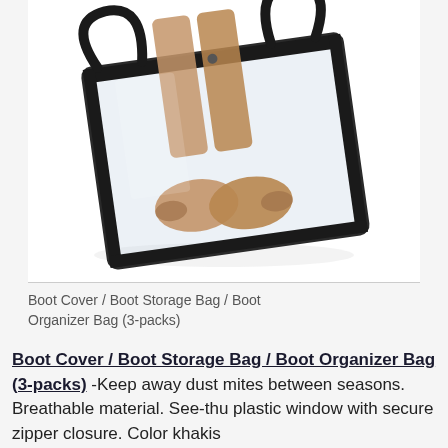[Figure (photo): A clear plastic boot storage bag with black zipper trim and handles, containing a pair of tan/khaki boots standing upright inside the transparent bag, photographed against a white background.]
Boot Cover / Boot Storage Bag / Boot Organizer Bag (3-packs)
Boot Cover / Boot Storage Bag / Boot Organizer Bag (3-packs) -Keep away dust mites between seasons. Breathable material. See-thu plastic window with secure zipper closure. Color khakis